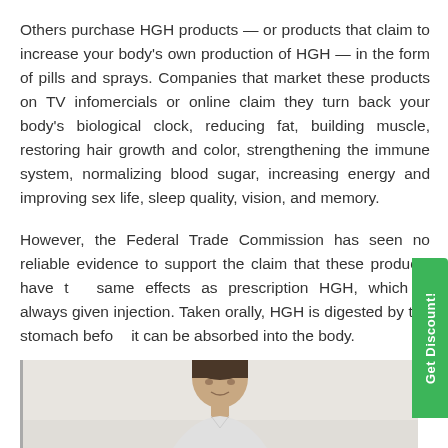Others purchase HGH products — or products that claim to increase your body's own production of HGH — in the form of pills and sprays. Companies that market these products on TV infomercials or online claim they turn back your body's biological clock, reducing fat, building muscle, restoring hair growth and color, strengthening the immune system, normalizing blood sugar, increasing energy and improving sex life, sleep quality, vision, and memory.
However, the Federal Trade Commission has seen no reliable evidence to support the claim that these products have the same effects as prescription HGH, which is always given by injection. Taken orally, HGH is digested by the stomach before it can be absorbed into the body.
[Figure (photo): Partial photo of a person (head and shoulders visible) against a light background, cropped at the bottom of the page.]